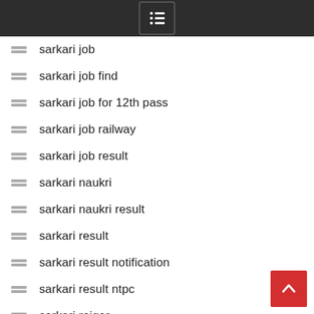Menu
sarkari job
sarkari job find
sarkari job for 12th pass
sarkari job railway
sarkari job result
sarkari naukri
sarkari naukri result
sarkari result
sarkari result notification
sarkari result ntpc
sarkari rojgar
sarkari vacancy
security guard jobs